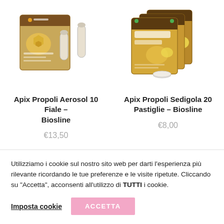[Figure (photo): Apix Propoli Aerosol 10 Fiale Biosline product box with vials, honeycomb and bee imagery, orange/brown packaging]
[Figure (photo): Apix Propoli Sedigola 20 Pastiglie Biosline product boxes stacked, orange/brown packaging with lemon imagery and Sedigola branding]
Apix Propoli Aerosol 10 Fiale – Biosline
€13,50
Apix Propoli Sedigola 20 Pastiglie – Biosline
€8,00
Utilizziamo i cookie sul nostro sito web per darti l'esperienza più rilevante ricordando le tue preferenze e le visite ripetute. Cliccando su "Accetta", acconsenti all'utilizzo di TUTTI i cookie.
Imposta cookie
ACCETTA